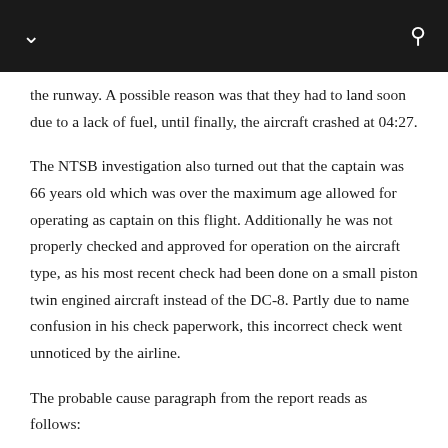the runway. A possible reason was that they had to land soon due to a lack of fuel, until finally, the aircraft crashed at 04:27.
The NTSB investigation also turned out that the captain was 66 years old which was over the maximum age allowed for operating as captain on this flight. Additionally he was not properly checked and approved for operation on the aircraft type, as his most recent check had been done on a small piston twin engined aircraft instead of the DC-8. Partly due to name confusion in his check paperwork, this incorrect check went unnoticed by the airline.
The probable cause paragraph from the report reads as follows:
The Commission determines:
a) That as a result of the captain's glaring carelessness and